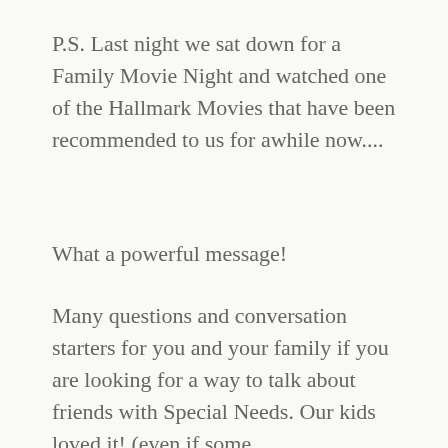P.S. Last night we sat down for a Family Movie Night and watched one of the Hallmark Movies that have been recommended to us for awhile now....
What a powerful message!
Many questions and conversation starters for you and your family if you are looking for a way to talk about friends with Special Needs. Our kids loved it! (even if some